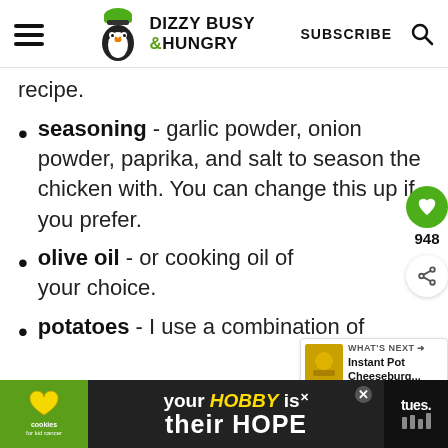Dizzy Busy & Hungry — SUBSCRIBE
recipe.
seasoning - garlic powder, onion powder, paprika, and salt to season the chicken with. You can change this up if you prefer.
olive oil - or cooking oil of your choice.
potatoes - I use a combination of
[Figure (other): Advertisement banner: cookies for kid cancer logo, 'your HOBBY is their HOPE' text]